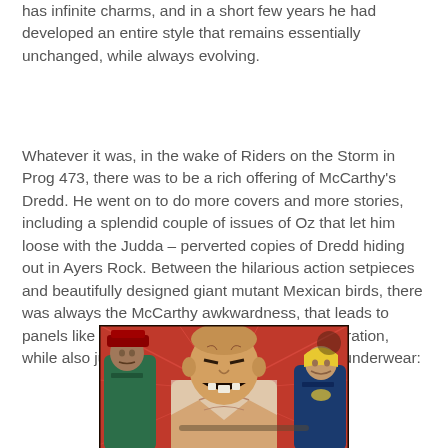has infinite charms, and in a short few years he had developed an entire style that remains essentially unchanged, while always evolving.
Whatever it was, in the wake of Riders on the Storm in Prog 473, there was to be a rich offering of McCarthy’s Dredd. He went on to do more covers and more stories, including a splendid couple of issues of Oz that let him loose with the Judda – perverted copies of Dredd hiding out in Ayers Rock. Between the hilarious action setpieces and beautifully designed giant mutant Mexican birds, there was always the McCarthy awkwardness, that leads to panels like this, full of rage and power and frustration, while also just a picture of an angry man in his underwear:
[Figure (illustration): Comic book panel showing a muscular angry man in underwear with ripped shirt, flanked by two uniformed figures, set against a red background with action lines.]